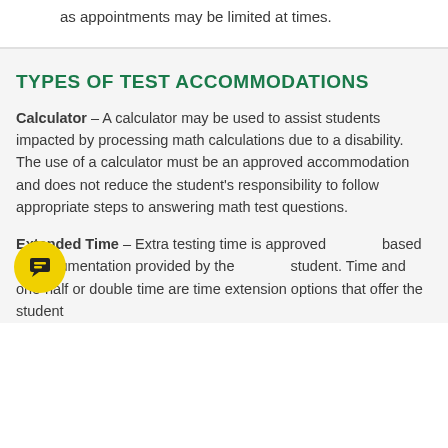as appointments may be limited at times.
TYPES OF TEST ACCOMMODATIONS
Calculator – A calculator may be used to assist students impacted by processing math calculations due to a disability. The use of a calculator must be an approved accommodation and does not reduce the student's responsibility to follow appropriate steps to answering math test questions.
Extended Time – Extra testing time is approved based on documentation provided by the student. Time and one-half or double time are time extension options that offer the student additional time to complete the assessment.